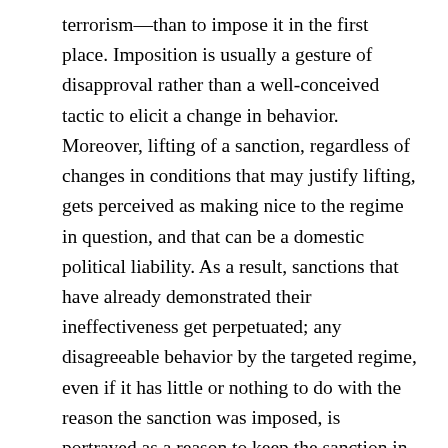terrorism—than to impose it in the first place. Imposition is usually a gesture of disapproval rather than a well-conceived tactic to elicit a change in behavior. Moreover, lifting of a sanction, regardless of changes in conditions that may justify lifting, gets perceived as making nice to the regime in question, and that can be a domestic political liability. As a result, sanctions that have already demonstrated their ineffectiveness get perpetuated; any disagreeable behavior by the targeted regime, even if it has little or nothing to do with the reason the sanction was imposed, is portrayed as a reason to keep the sanction in place.